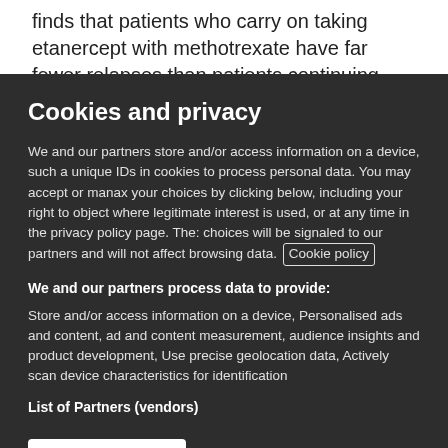finds that patients who carry on taking etanercept with methotrexate have far fewer relapses than patients continuing
Cookies and privacy
We and our partners store and/or access information on a device, such as unique IDs in cookies to process personal data. You may accept or manage your choices by clicking below, including your right to object where legitimate interest is used, or at any time in the privacy policy page. These choices will be signaled to our partners and will not affect browsing data. Cookie policy
We and our partners process data to provide:
Store and/or access information on a device, Personalised ads and content, ad and content measurement, audience insights and product development, Use precise geolocation data, Actively scan device characteristics for identification
List of Partners (vendors)
I Accept